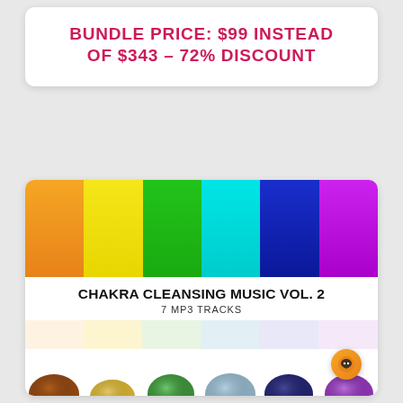BUNDLE PRICE: $99 INSTEAD OF $343 – 72% DISCOUNT
[Figure (illustration): Chakra Cleansing Music Vol. 2 album cover showing 6 colored gradient bars (orange, yellow, green, cyan, blue, purple) at the top, title text in the middle, and 7 chakra crystals/stones at the bottom on pastel color swatches.]